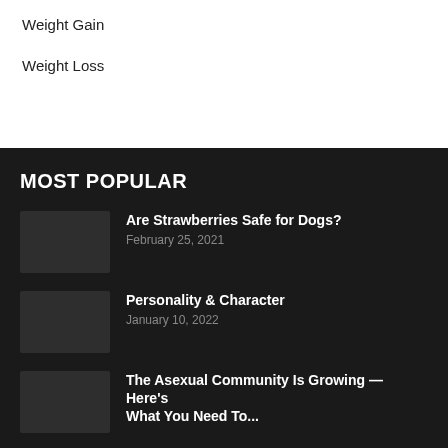Weight Gain
Weight Loss
MOST POPULAR
[Figure (photo): Thumbnail image placeholder for article about strawberries and dogs]
Are Strawberries Safe for Dogs?
February 25, 2021
[Figure (photo): Thumbnail image placeholder for article about personality and character]
Personality & Character
January 10, 2022
[Figure (photo): Thumbnail image placeholder for article about asexual community]
The Asexual Community Is Growing — Here's What You Need To...